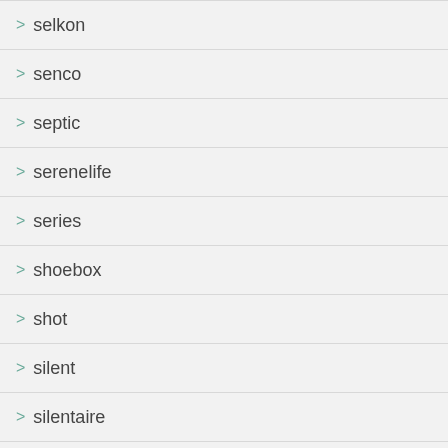> selkon
> senco
> septic
> serenelife
> series
> shoebox
> shot
> silent
> silentaire
> silver
> single
> size
> slimo